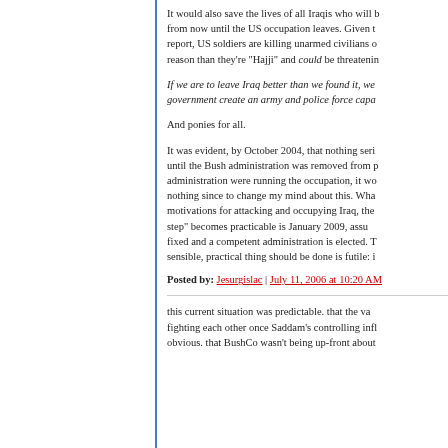It would also save the lives of all Iraqis who will be killed from now until the US occupation leaves. Given the report, US soldiers are killing unarmed civilians on no reason than they're "Hajji" and could be threatening
If we are to leave Iraq better than we found it, we government create an army and police force capa
And ponies for all.
It was evident, by October 2004, that nothing seri until the Bush administration was removed from p administration were running the occupation, it wo nothing since to change my mind about this. Wha motivations for attacking and occupying Iraq, the step" becomes practicable is January 2009, assu fixed and a competent administration is elected. T sensible, practical thing should be done is futile: i
Posted by: Jesurgislac | July 11, 2006 at 10:20 AM
this current situation was predictable. that the va fighting each other once Saddam's controlling infl obvious. that BushCo wasn't being up-front about